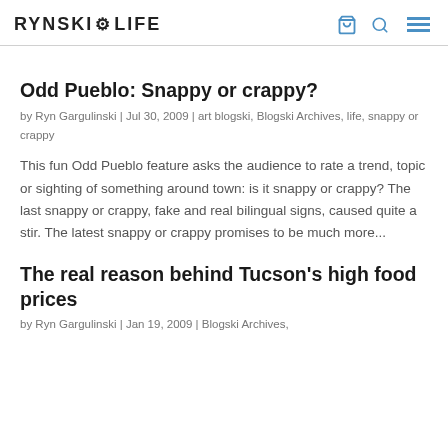RYNSKI LIFE
Odd Pueblo: Snappy or crappy?
by Ryn Gargulinski | Jul 30, 2009 | art blogski, Blogski Archives, life, snappy or crappy
This fun Odd Pueblo feature asks the audience to rate a trend, topic or sighting of something around town: is it snappy or crappy? The last snappy or crappy, fake and real bilingual signs, caused quite a stir. The latest snappy or crappy promises to be much more...
The real reason behind Tucson's high food prices
by Ryn Gargulinski | Jan 19, 2009 | Blogski Archives,